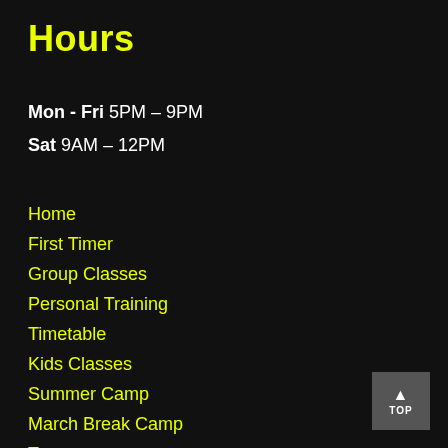Hours
Mon - Fri 5PM – 9PM
Sat 9AM – 12PM
Home
First Timer
Group Classes
Personal Training
Timetable
Kids Classes
Summer Camp
March Break Camp
Team
TOP